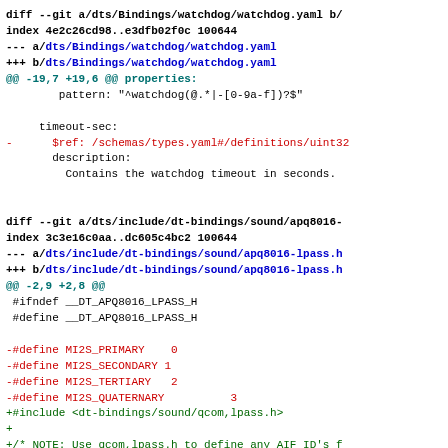diff --git a/dts/Bindings/watchdog/watchdog.yaml b/
index 4e2c26cd98..e3dfb02f0c 100644
--- a/dts/Bindings/watchdog/watchdog.yaml
+++ b/dts/Bindings/watchdog/watchdog.yaml
@@ -19,7 +19,6 @@ properties:
        pattern: "^watchdog(@.*|-[0-9a-f])?$"

     timeout-sec:
-      $ref: /schemas/types.yaml#/definitions/uint32
       description:
         Contains the watchdog timeout in seconds.


diff --git a/dts/include/dt-bindings/sound/apq8016-
index 3c3e16c0aa..dc605c4bc2 100644
--- a/dts/include/dt-bindings/sound/apq8016-lpass.h
+++ b/dts/include/dt-bindings/sound/apq8016-lpass.h
@@ -2,9 +2,8 @@
 #ifndef __DT_APQ8016_LPASS_H
 #define __DT_APQ8016_LPASS_H

-#define MI2S_PRIMARY    0
-#define MI2S_SECONDARY 1
-#define MI2S_TERTIARY   2
-#define MI2S_QUATERNARY          3
+#include <dt-bindings/sound/qcom,lpass.h>
+
+/* NOTE: Use qcom,lpass.h to define any AIF ID's f

  #endif /*  __DT_APQ8016_LPASS_H */